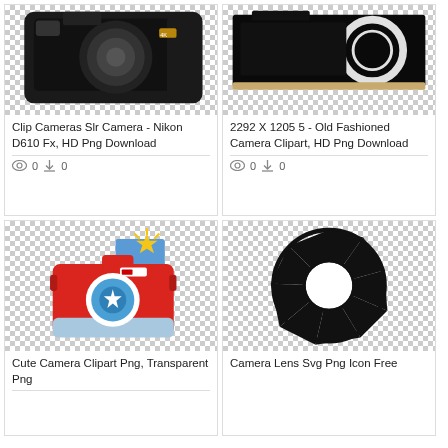[Figure (photo): Nikon D610 DSLR camera clipart on checkered transparent background]
Clip Cameras Slr Camera - Nikon D610 Fx, HD Png Download
0  0
[Figure (photo): Old fashioned camera clipart on black background with white lens ring, checkered transparent background]
2292 X 1205 5 - Old Fashioned Camera Clipart, HD Png Download
0  0
[Figure (illustration): Cute red cartoon camera clipart with blue lens and gold star flash, on checkered transparent background]
Cute Camera Clipart Png, Transparent Png
[Figure (illustration): Camera lens SVG icon showing aperture blades in black outline on checkered transparent background]
Camera Lens Svg Png Icon Free